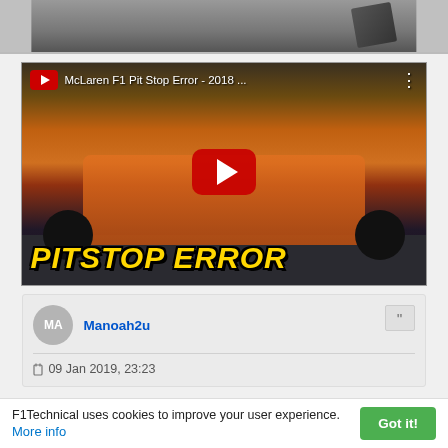[Figure (screenshot): Partial top image strip showing a grey/dark cropped photo from a previous content block]
[Figure (screenshot): YouTube video thumbnail for 'McLaren F1 Pit Stop Error - 2018 ...' showing an orange McLaren F1 car with a red YouTube play button in the center and yellow bold italic text 'PITSTOP ERROR' at the bottom]
Manoah2u
09 Jan 2019, 23:23
F1Technical uses cookies to improve your user experience. More info